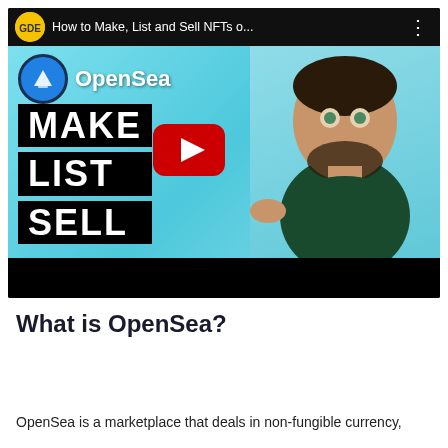[Figure (screenshot): YouTube video thumbnail and player for 'How to Make, List and Sell NFTs o...' featuring the OpenSea logo, bold text reading MAKE LIST SELL, a YouTube play button, and a man with an excited expression pointing at the text. Below the thumbnail is a black bar.]
What is OpenSea?
OpenSea is a marketplace that deals in non-fungible currency,